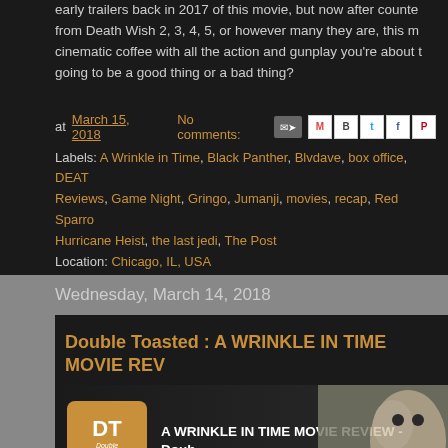early trailers back in 2017 of this movie, but now after counte from Death Wish 2, 3, 4, 5, or however many they are, this m cinematic coffee with all the action and gunplay you're about t going to be a good thing or a bad thing?
at March 15, 2018   No comments:
Labels: A Wrinkle in Time, Black Panther, Blvdave, box office, DEAT Reviews, Game Night, Gringo, Jumanji, movies, recap, Red Sparro Hurricane Heist, the last jedi, The Post
Location: Chicago, IL, USA
Wednesday, March 14, 2018
Double Toasted : A WRINKLE IN TIME MOVIE REV
[Figure (screenshot): Video thumbnail showing Double Toasted logo and text 'A WRINKLE IN TIME MOVIE REVIEW - Doub' with a cat image on the right]